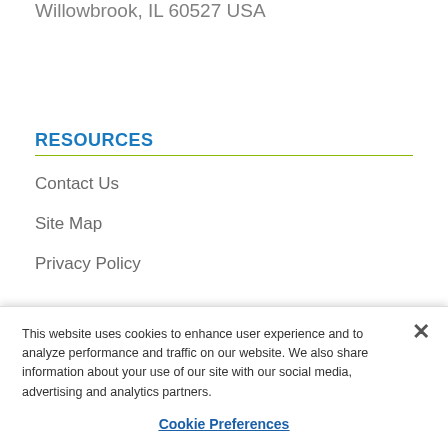Willowbrook, IL 60527 USA
RESOURCES
Contact Us
Site Map
Privacy Policy
This website uses cookies to enhance user experience and to analyze performance and traffic on our website. We also share information about your use of our site with our social media, advertising and analytics partners.
Cookie Preferences